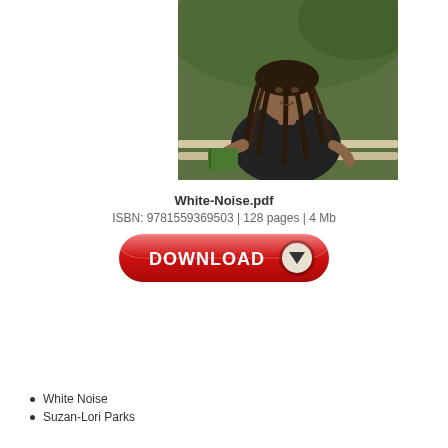[Figure (photo): A person with long dreadlocks sitting on a bench outdoors, wearing a black v-neck shirt, holding a green book, with trees in the background.]
White-Noise.pdf
ISBN: 9781559369503 | 128 pages | 4 Mb
[Figure (other): A red rounded-rectangle download button with white bold text 'DOWNLOAD' and a downward-pointing triangle icon on the right.]
White Noise
Suzan-Lori Parks